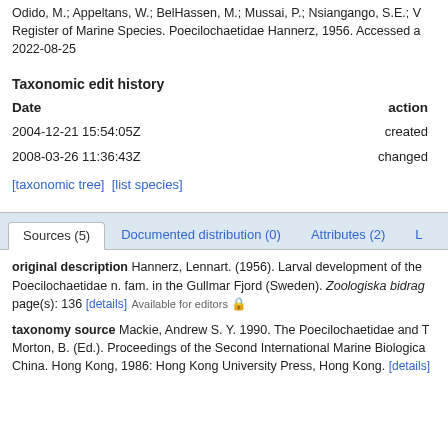Odido, M.; Appeltans, W.; BelHassen, M.; Mussai, P.; Nsiangango, S.E.; V... Register of Marine Species. Poecilochaetidae Hannerz, 1956. Accessed a... 2022-08-25
Taxonomic edit history
| Date | action |
| --- | --- |
| 2004-12-21 15:54:05Z | created |
| 2008-03-26 11:36:43Z | changed |
[taxonomic tree]  [list species]
Sources (5)  Documented distribution (0)  Attributes (2)  L...
original description Hannerz, Lennart. (1956). Larval development of the Poecilochaetidae n. fam. in the Gullmar Fjord (Sweden). Zoologiska bidrag... page(s): 136 [details]  Available for editors
taxonomy source Mackie, Andrew S. Y. 1990. The Poecilochaetidae and T... Morton, B. (Ed.). Proceedings of the Second International Marine Biologica... China. Hong Kong, 1986: Hong Kong University Press, Hong Kong. [details]